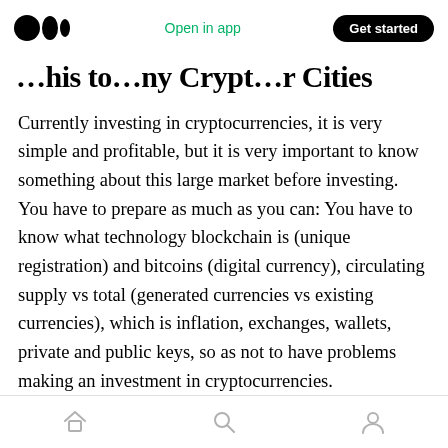Open in app | Get started
…his to…ny Crypt…r Cities
Currently investing in cryptocurrencies, it is very simple and profitable, but it is very important to know something about this large market before investing. You have to prepare as much as you can: You have to know what technology blockchain is (unique registration) and bitcoins (digital currency), circulating supply vs total (generated currencies vs existing currencies), which is inflation, exchanges, wallets, private and public keys, so as not to have problems making an investment in cryptocurrencies.
Home | Search | Profile